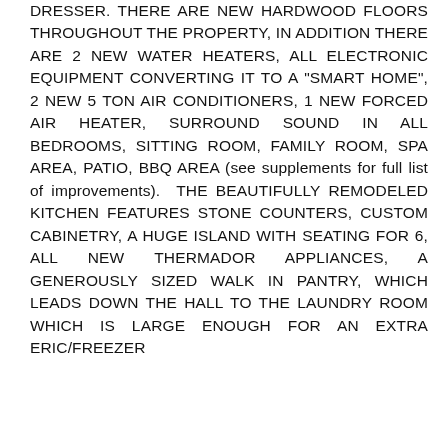DRESSER. THERE ARE NEW HARDWOOD FLOORS THROUGHOUT THE PROPERTY, IN ADDITION THERE ARE 2 NEW WATER HEATERS, ALL ELECTRONIC EQUIPMENT CONVERTING IT TO A "SMART HOME", 2 NEW 5 TON AIR CONDITIONERS, 1 NEW FORCED AIR HEATER, SURROUND SOUND IN ALL BEDROOMS, SITTING ROOM, FAMILY ROOM, SPA AREA, PATIO, BBQ AREA (see supplements for full list of improvements). THE BEAUTIFULLY REMODELED KITCHEN FEATURES STONE COUNTERS, CUSTOM CABINETRY, A HUGE ISLAND WITH SEATING FOR 6, ALL NEW THERMADOR APPLIANCES, A GENEROUSLY SIZED WALK IN PANTRY, WHICH LEADS DOWN THE HALL TO THE LAUNDRY ROOM WHICH IS LARGE ENOUGH FOR AN EXTRA ERIC/FREEZER